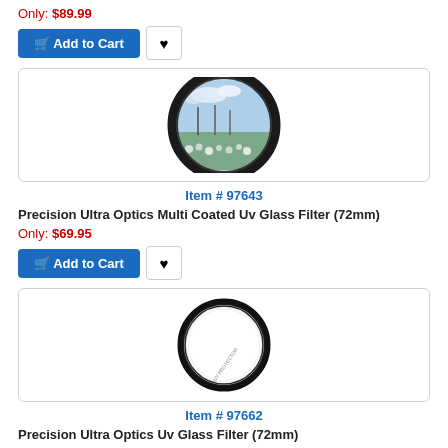Only: $89.99
[Figure (other): Add to Cart button and wishlist heart button]
[Figure (photo): Precision Ultra Optics Multi Coated UV Glass Filter (72mm) showing a circular lens filter with a harbor/dock scene visible through it]
Item # 97643
Precision Ultra Optics Multi Coated Uv Glass Filter (72mm)
Only: $69.95
[Figure (other): Add to Cart button and wishlist heart button]
[Figure (photo): Precision Ultra Optics UV Glass Filter (72mm) showing a plain circular lens filter ring with UV PROTECTOR text on rim]
Item # 97662
Precision Ultra Optics Uv Glass Filter (72mm)
Only: $34.95